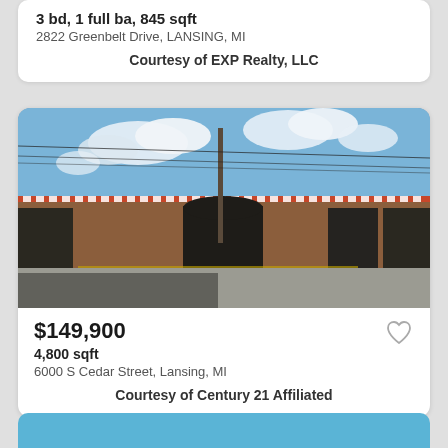3 bd, 1 full ba, 845 sqft
2822 Greenbelt Drive, LANSING, MI
Courtesy of EXP Realty, LLC
[Figure (photo): Exterior photo of a low-rise commercial brick building with a large parking lot in front, utility poles, and a blue sky with clouds in Lansing, MI.]
$149,900
4,800 sqft
6000 S Cedar Street, Lansing, MI
Courtesy of Century 21 Affiliated